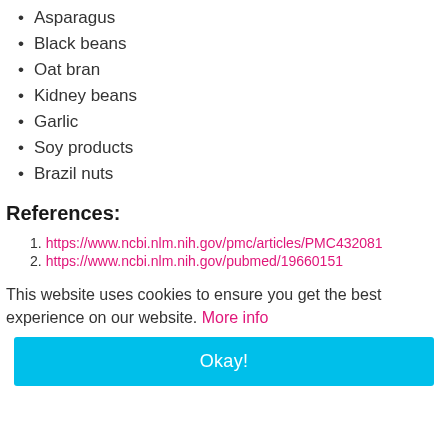Asparagus
Black beans
Oat bran
Kidney beans
Garlic
Soy products
Brazil nuts
References:
https://www.ncbi.nlm.nih.gov/pmc/articles/PMC432081
https://www.ncbi.nlm.nih.gov/pubmed/19660151
This website uses cookies to ensure you get the best experience on our website. More info
Okay!